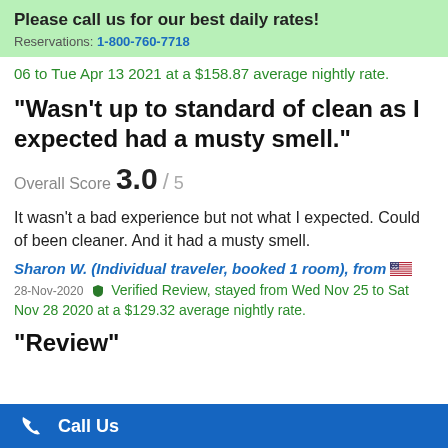Please call us for our best daily rates! Reservations: 1-800-760-7718
06 to Tue Apr 13 2021 at a $158.87 average nightly rate.
"Wasn't up to standard of clean as I expected had a musty smell."
Overall Score 3.0 / 5
It wasn't a bad experience but not what I expected. Could of been cleaner. And it had a musty smell.
Sharon W. (Individual traveler, booked 1 room), from 🇺🇸
28-Nov-2020 Verified Review, stayed from Wed Nov 25 to Sat Nov 28 2020 at a $129.32 average nightly rate.
"Review"
Call Us